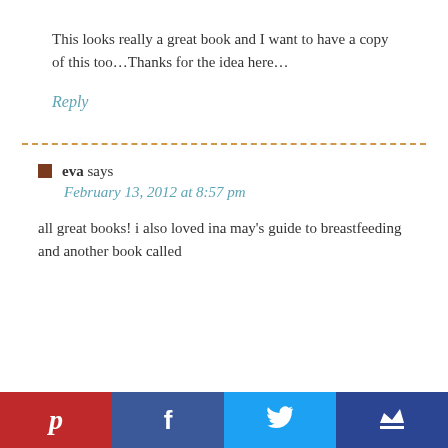This looks really a great book and I want to have a copy of this too…Thanks for the idea here…
Reply
eva says
February 13, 2012 at 8:57 pm
all great books! i also loved ina may's guide to breastfeeding and another book called